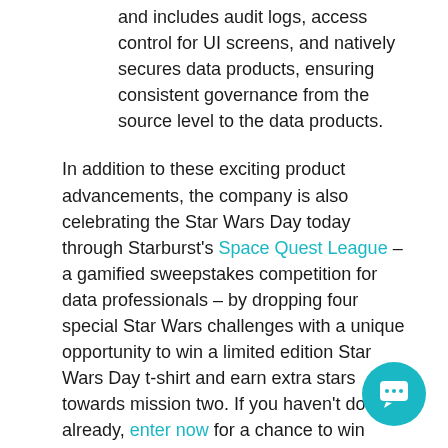and includes audit logs, access control for UI screens, and natively secures data products, ensuring consistent governance from the source level to the data products.
In addition to these exciting product advancements, the company is also celebrating the Star Wars Day today through Starburst's Space Quest League – a gamified sweepstakes competition for data professionals – by dropping four special Star Wars challenges with a unique opportunity to win a limited edition Star Wars Day t-shirt and earn extra stars towards mission two. If you haven't done so already, enter now for a chance to win $20,000 cash (or roughly $28,800 Imperial Credits)!
As much as we admire Star Wars and Yoda here at Starburst, for us, there is a try(for free!), and we